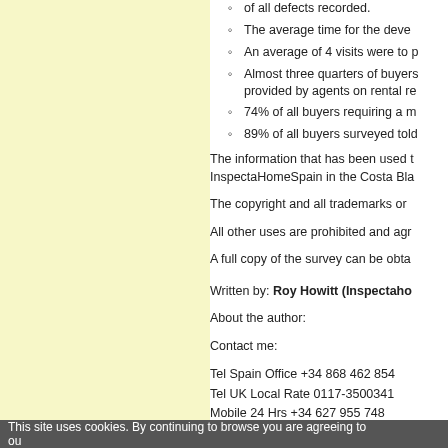of all defects recorded.
The average time for the deve...
An average of 4 visits were to p...
Almost three quarters of buyers... provided by agents on rental re...
74% of all buyers requiring a m...
89% of all buyers surveyed told...
The information that has been used to... InspectaHomeSpain in the Costa Bla...
The copyright and all trademarks or...
All other uses are prohibited and agr...
A full copy of the survey can be obta...
Written by: Roy Howitt (Inspectaho...
About the author:
Contact me:
Tel Spain Office +34 868 462 854
Tel UK Local Rate 0117-3500341
Mobile 24 Hrs +34 627 955 748
Website www.thesnaggingforum.com
e-mail info@thesnaggingforum.com
This site uses cookies. By continuing to browse you are agreeing to ou...